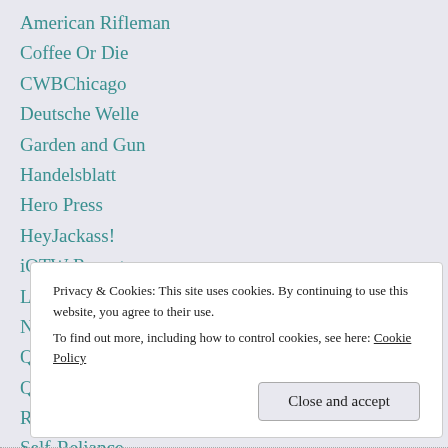American Rifleman
Coffee Or Die
CWBChicago
Deutsche Welle
Garden and Gun
Handelsblatt
Hero Press
HeyJackass!
iOTW Report
Liberty Park Press
NRATV
Quanta Magazine
Quillette
Reason
Self-Reliance
Shooting Illustrated
S…
S…
W…
W…
W…
Privacy & Cookies: This site uses cookies. By continuing to use this website, you agree to their use.
To find out more, including how to control cookies, see here: Cookie Policy
Close and accept